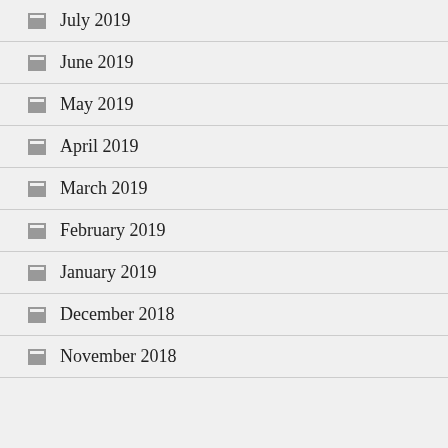July 2019
June 2019
May 2019
April 2019
March 2019
February 2019
January 2019
December 2018
November 2018